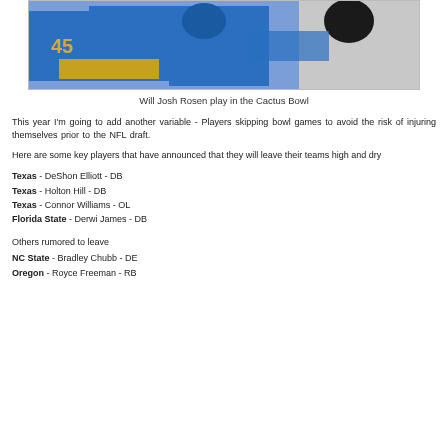[Figure (photo): Football action photo showing players in blue UCLA uniforms (number 45 visible) and a player in white uniform during a game]
Will Josh Rosen play in the Cactus Bowl
This year I'm going to add another variable - Players skipping bowl games to avoid the risk of injuring themselves prior to the NFL draft.
Here are some key players that have announced that they will leave their teams high and dry
Texas - DeShon Elliott - DB
Texas - Holton Hill - DB
Texas - Connor Williams - OL
Florida State - Derwi James - DB
Others rumored to leave
NC State - Bradley Chubb - DE
Oregon - Royce Freeman - RB